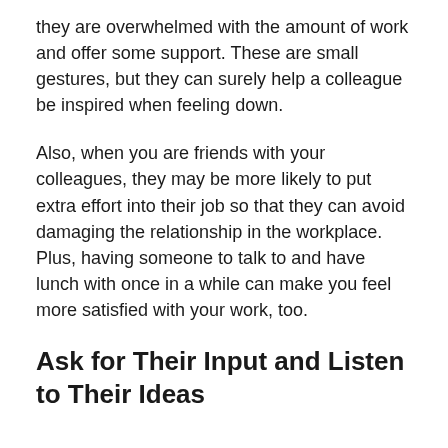they are overwhelmed with the amount of work and offer some support. These are small gestures, but they can surely help a colleague be inspired when feeling down.
Also, when you are friends with your colleagues, they may be more likely to put extra effort into their job so that they can avoid damaging the relationship in the workplace. Plus, having someone to talk to and have lunch with once in a while can make you feel more satisfied with your work, too.
Ask for Their Input and Listen to Their Ideas